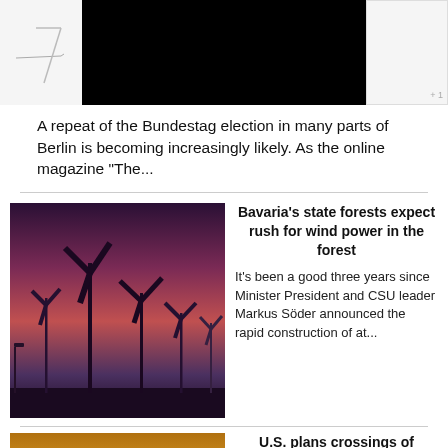[Figure (photo): Top strip: left side has a pencil sketch/icon, center is a large black rectangle (image), right side is partially visible border area.]
A repeat of the Bundestag election in many parts of Berlin is becoming increasingly likely. As the online magazine "The...
[Figure (photo): Wind turbines silhouetted against a purple-pink sunset sky.]
Bavaria's state forests expect rush for wind power in the forest
It's been a good three years since Minister President and CSU leader Markus Söder announced the rapid construction of at...
[Figure (photo): A harbor/pier scene at golden sunset with boats and a dock.]
U.S. plans crossings of Taiwan Strait by ships and aircraft
Notwithstanding heightened tensions with China over Taiwan, the United States will transit the Taiwan Strait with ships...
[Figure (photo): Partially visible image at bottom, appears to be an outdoor landscape.]
Kiev gets new weapons and